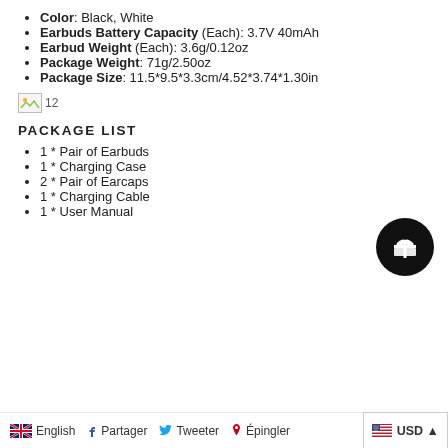Color: Black, White
Earbuds Battery Capacity (Each): 3.7V 40mAh
Earbud Weight (Each): 3.6g/0.12oz
Package Weight: 71g/2.50oz
Package Size: 11.5*9.5*3.3cm/4.52*3.74*1.30in
[Figure (photo): Broken image placeholder labeled 12]
PACKAGE LIST
1 * Pair of Earbuds
1 * Charging Case
2 * Pair of Earcaps
1 * Charging Cable
1 * User Manual
English   Partager   Tweeter   Épingler   USD